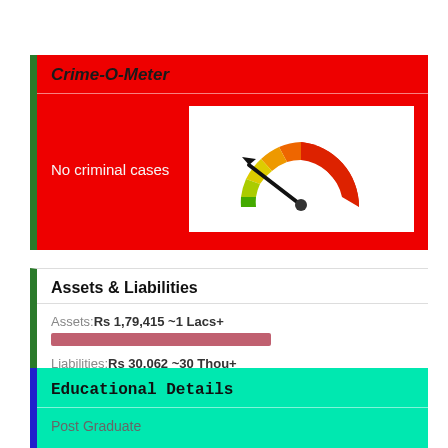Crime-O-Meter
No criminal cases
[Figure (other): Speedometer/gauge showing needle pointing to the low (green) end, indicating no criminal cases]
Assets & Liabilities
Assets:Rs 1,79,415 ~1 Lacs+
Liabilities:Rs 30,062 ~30 Thou+
Educational Details
Post Graduate